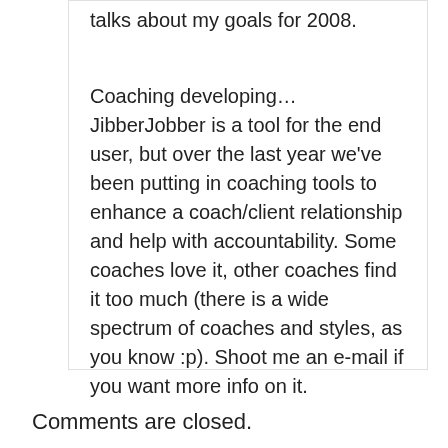talks about my goals for 2008.
Coaching developing… JibberJobber is a tool for the end user, but over the last year we've been putting in coaching tools to enhance a coach/client relationship and help with accountability. Some coaches love it, other coaches find it too much (there is a wide spectrum of coaches and styles, as you know :p). Shoot me an e-mail if you want more info on it.
Comments are closed.